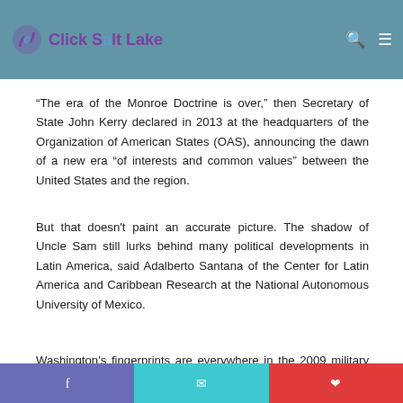Click Salt Lake — navigation header with logo
“The era of the Monroe Doctrine is over,” then Secretary of State John Kerry declared in 2013 at the headquarters of the Organization of American States (OAS), announcing the dawn of a new era “of interests and common values” between the United States and the region.
But that doesn’t paint an accurate picture. The shadow of Uncle Sam still lurks behind many political developments in Latin America, said Adalberto Santana of the Center for Latin America and Caribbean Research at the National Autonomous University of Mexico.
Washington’s fingerprints are everywhere in the 2009 military coup in Honduras, the ousting of Fernando Lugo in Paraguay
Social sharing footer bar